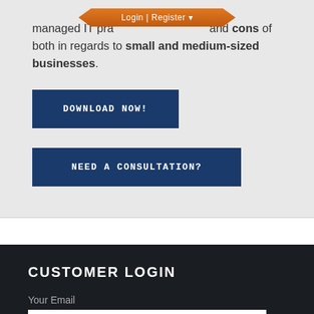[Figure (screenshot): Orange hexagon-shaped navigation bar with Login | Register text]
managed IT pra… and cons of both in regards to small and medium-sized businesses.
DOWNLOAD NOW!
NEED A CONSULTATION?
CUSTOMER LOGIN
Your Email